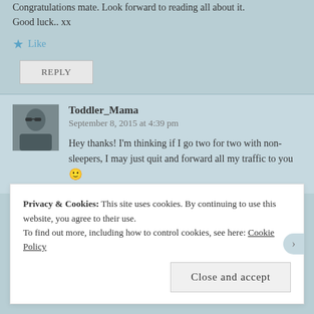Congratulations mate. Look forward to reading all about it. Good luck.. xx
Like
REPLY
Toddler_Mama
September 8, 2015 at 4:39 pm
Hey thanks! I'm thinking if I go two for two with non-sleepers, I may just quit and forward all my traffic to you 🙂
Privacy & Cookies: This site uses cookies. By continuing to use this website, you agree to their use.
To find out more, including how to control cookies, see here: Cookie Policy
Close and accept